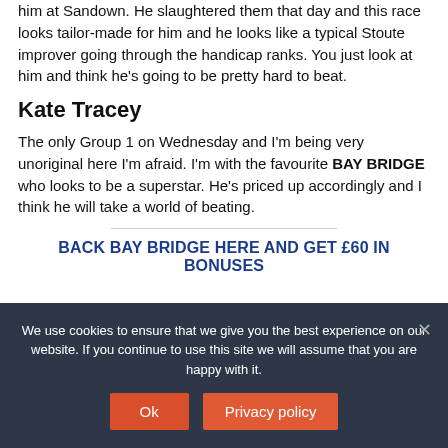him at Sandown. He slaughtered them that day and this race looks tailor-made for him and he looks like a typical Stoute improver going through the handicap ranks. You just look at him and think he's going to be pretty hard to beat.
Kate Tracey
The only Group 1 on Wednesday and I'm being very unoriginal here I'm afraid. I'm with the favourite BAY BRIDGE who looks to be a superstar. He's priced up accordingly and I think he will take a world of beating.
BACK BAY BRIDGE HERE AND GET £60 IN BONUSES
We use cookies to ensure that we give you the best experience on our website. If you continue to use this site we will assume that you are happy with it.